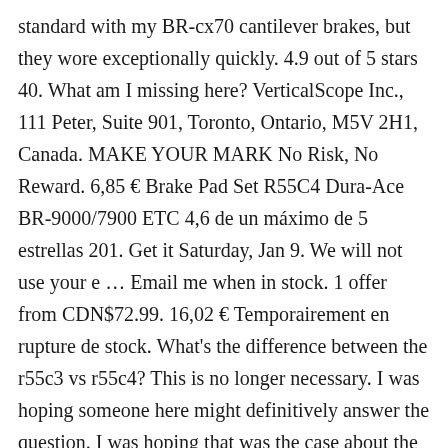standard with my BR-cx70 cantilever brakes, but they wore exceptionally quickly. 4.9 out of 5 stars 40. What am I missing here? VerticalScope Inc., 111 Peter, Suite 901, Toronto, Ontario, M5V 2H1, Canada. MAKE YOUR MARK No Risk, No Reward. 6,85 € Brake Pad Set R55C4 Dura-Ace BR-9000/7900 ETC 4,6 de un máximo de 5 estrellas 201. Get it Saturday, Jan 9. We will not use your e … Email me when in stock. 1 offer from CDN$72.99. 16,02 € Temporairement en rupture de stock. What's the difference between the r55c3 vs r55c4? This is no longer necessary. I was hoping someone here might definitively answer the question. I was hoping that was the case about the pads and track bedding in. Shimano Remblokken R55C4 Online Bike Parts De Shimano Remblokken R55C4 … Current Stock: Quantity: Decrease Quantity: Increase Quantity: Shimano